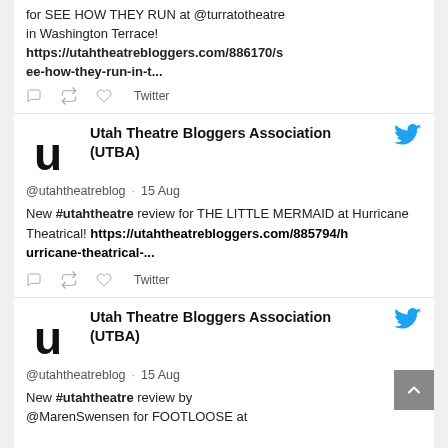for SEE HOW THEY RUN at @utahtheatre in Washington Terrace! https://utahtheatrebloggers.com/886170/see-how-they-run-in-t...
Utah Theatre Bloggers Association (UTBA) @utahtheatreblog · 15 Aug — New #utahtheatre review for THE LITTLE MERMAID at Hurricane Theatrical! https://utahtheatrebloggers.com/885794/hurricane-theatrical-...
Utah Theatre Bloggers Association (UTBA) @utahtheatreblog · 15 Aug — New #utahtheatre review by @MarenSwensen for FOOTLOOSE at